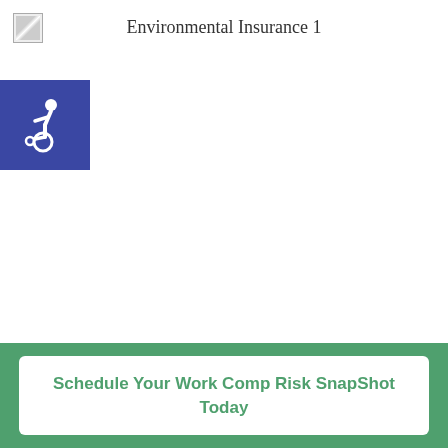Environmental Insurance 1
[Figure (logo): Accessibility wheelchair icon on blue background]
Schedule Your Work Comp Risk SnapShot Today